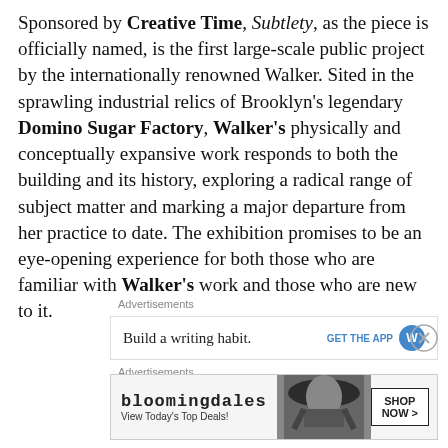Sponsored by Creative Time, Subtlety, as the piece is officially named, is the first large-scale public project by the internationally renowned Walker. Sited in the sprawling industrial relics of Brooklyn's legendary Domino Sugar Factory, Walker's physically and conceptually expansive work responds to both the building and its history, exploring a radical range of subject matter and marking a major departure from her practice to date. The exhibition promises to be an eye-opening experience for both those who are familiar with Walker's work and those who are new to it.
Advertisements
[Figure (other): Advertisement banner: 'Build a writing habit.' with GET THE APP button and app icon, with close (X) button]
Advertisements
[Figure (other): Bloomingdales advertisement: 'bloomingdales' logo, 'View Today's Top Deals!' text, woman in hat image, 'SHOP NOW >' button]